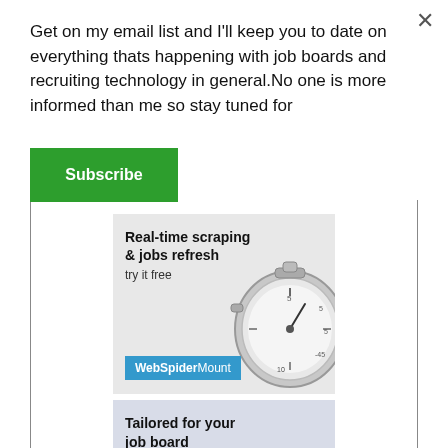Get on my email list and I'll keep you to date on everything thats happening with job boards and recruiting technology in general.No one is more informed than me so stay tuned for
[Figure (other): Green Subscribe button]
[Figure (other): Advertisement banner: Real-time scraping & jobs refresh, try it free. Shows a stopwatch image. WebSpiderMount branding badge in blue.]
[Figure (other): Advertisement banner: Tailored for your job board business. Shows a suit jacket with measuring tape.]